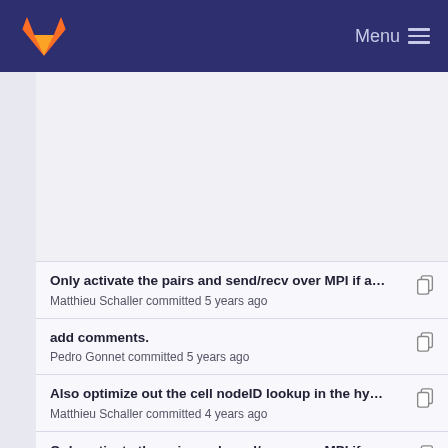GitLab — Menu
Only activate the pairs and send/recv over MPI if a... — Matthieu Schaller committed 5 years ago
add comments. — Pedro Gonnet committed 5 years ago
Also optimize out the cell nodeID lookup in the hy... — Matthieu Schaller committed 4 years ago
Only activate the pairs and send/recv over MPI if a... — Matthieu Schaller committed 5 years ago
When unskipping gravity tasks, do a full tree walk ... — Matthieu Schaller committed 5 years ago
Also optimize out the cell nodeID lookup in the hy... (truncated)